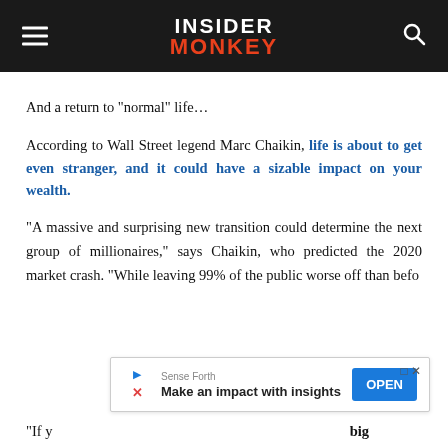INSIDER MONKEY
And a return to “normal” life…
According to Wall Street legend Marc Chaikin, life is about to get even stranger, and it could have a sizable impact on your wealth.
“A massive and surprising new transition could determine the next group of millionaires,” says Chaikin, who predicted the 2020 market crash. “While leaving 99% of the public worse off than befo
[Figure (screenshot): Advertisement overlay from Sense Forth: 'Make an impact with insights' with an OPEN button]
“If y... big